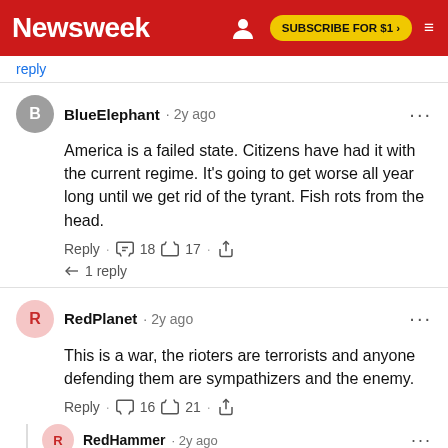Newsweek | SUBSCRIBE FOR $1 >
reply
BlueElephant · 2y ago
America is a failed state. Citizens have had it with the current regime. It's going to get worse all year long until we get rid of the tyrant. Fish rots from the head.
Reply · 18 · 17 · 1 reply
RedPlanet · 2y ago
This is a war, the rioters are terrorists and anyone defending them are sympathizers and the enemy.
Reply · 16 · 21
RedHammer · 2y ago
That is precisely what the British said about the Sons of Liberty and their decades of rioting